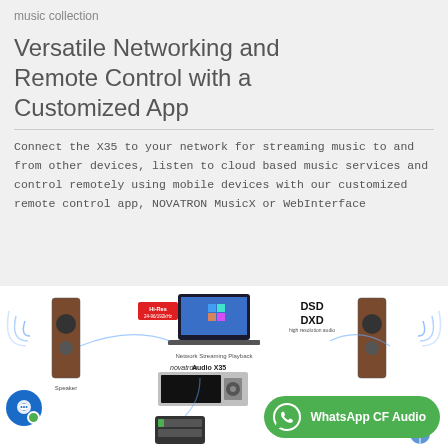music collection
Versatile Networking and Remote Control with a Customized App
Connect the X35 to your network for streaming music to and from other devices, listen to cloud based music services and control remotely using mobile devices with our customized remote control app, NOVATRON MusicX or WebInterface
[Figure (illustration): Networking diagram showing speakers, laptop, network streaming playback device (Audio X35), DSD/DXD labels, with WhatsApp CF Audio button overlay and chat bubble icon]